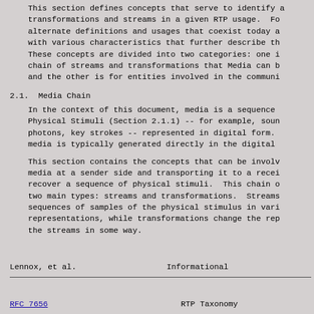This section defines concepts that serve to identify a transformations and streams in a given RTP usage.  For alternate definitions and usages that coexist today a with various characteristics that further describe the These concepts are divided into two categories: one i chain of streams and transformations that Media can b and the other is for entities involved in the communi
2.1.  Media Chain
In the context of this document, media is a sequence Physical Stimuli (Section 2.1.1) -- for example, soun photons, key strokes -- represented in digital form. media is typically generated directly in the digital
This section contains the concepts that can be involv media at a sender side and transporting it to a recei recover a sequence of physical stimuli.  This chain o two main types: streams and transformations.  Streams sequences of samples of the physical stimulus in vari representations, while transformations change the rep the streams in some way.
Lennox, et al.                    Informational
RFC 7656                          RTP Taxonomy